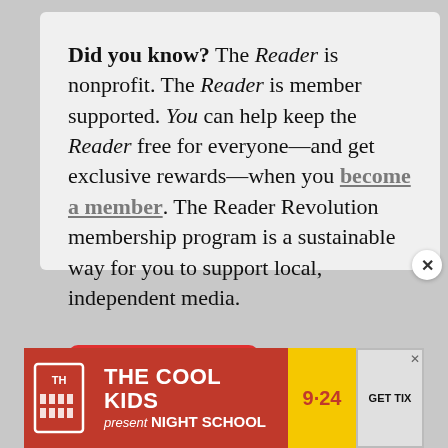Did you know? The Reader is nonprofit. The Reader is member supported. You can help keep the Reader free for everyone—and get exclusive rewards—when you become a member. The Reader Revolution membership program is a sustainable way for you to support local, independent media.
[Figure (other): Two call-to-action buttons: a red 'Become a member' button and a yellow 'Donate' button]
[Figure (other): Advertisement banner for 'The Cool Kids present Night School' event on 9·24, with a red background, building icon, and a 'GET TIX' button]